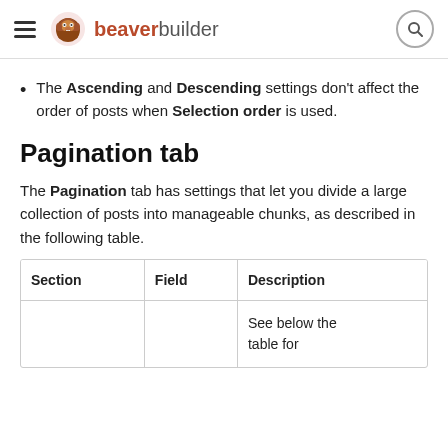beaverbuilder
The Ascending and Descending settings don't affect the order of posts when Selection order is used.
Pagination tab
The Pagination tab has settings that let you divide a large collection of posts into manageable chunks, as described in the following table.
| Section | Field | Description |
| --- | --- | --- |
|  |  | See below the table for |